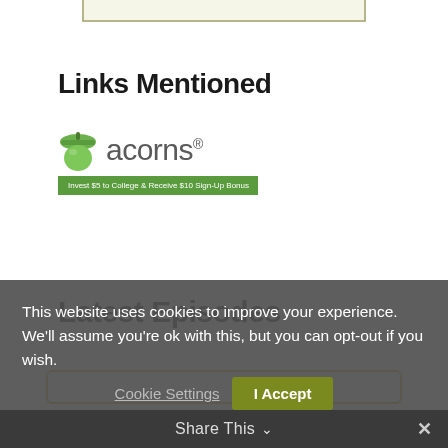[Figure (other): Top border/frame element from previous section]
Links Mentioned
[Figure (logo): Acorns logo with acorn icon and green banner reading 'Invest $5 to College & Receive $10 Sign-Up Bonus']
Latest Episodes
[Figure (other): Yellow-bordered episode card starting at bottom of page]
This website uses cookies to improve your experience. We'll assume you're ok with this, but you can opt-out if you wish.
Cookie Settings   I Accept
Share This ∨   ✕